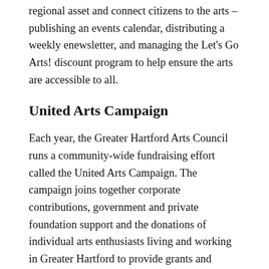regional asset and connect citizens to the arts – publishing an events calendar, distributing a weekly enewsletter, and managing the Let's Go Arts! discount program to help ensure the arts are accessible to all.
United Arts Campaign
Each year, the Greater Hartford Arts Council runs a community-wide fundraising effort called the United Arts Campaign. The campaign joins together corporate contributions, government and private foundation support and the donations of individual arts enthusiasts living and working in Greater Hartford to provide grants and services to more than 150 cultural organizations.